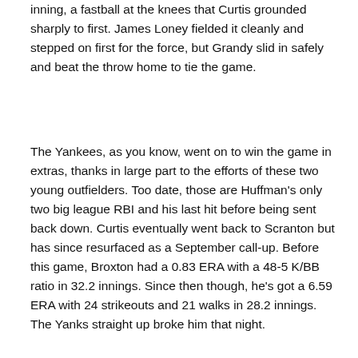inning, a fastball at the knees that Curtis grounded sharply to first. James Loney fielded it cleanly and stepped on first for the force, but Grandy slid in safely and beat the throw home to tie the game.
The Yankees, as you know, went on to win the game in extras, thanks in large part to the efforts of these two young outfielders. Too date, those are Huffman's only two big league RBI and his last hit before being sent back down. Curtis eventually went back to Scranton but has since resurfaced as a September call-up. Before this game, Broxton had a 0.83 ERA with a 48-5 K/BB ratio in 32.2 innings. Since then though, he's got a 6.59 ERA with 24 strikeouts and 21 walks in 28.2 innings. The Yanks straight up broke him that night.